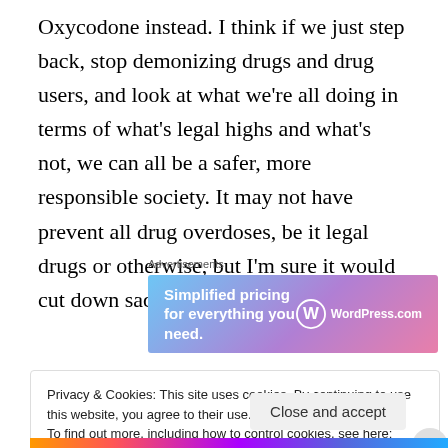Oxycodone instead. I think if we just step back, stop demonizing drugs and drug users, and look at what we're all doing in terms of what's legal highs and what's not, we can all be a safer, more responsible society. It may not have prevent all drug overdoses, be it legal drugs or otherwise, but I'm sure it would cut down sad stories.
[Figure (other): Advertisement banner for WordPress.com with gradient background (blue to pink/purple). Text: 'Simplified pricing for everything you need.' with WordPress.com logo on the right.]
Privacy & Cookies: This site uses cookies. By continuing to use this website, you agree to their use.
To find out more, including how to control cookies, see here: Cookie Policy